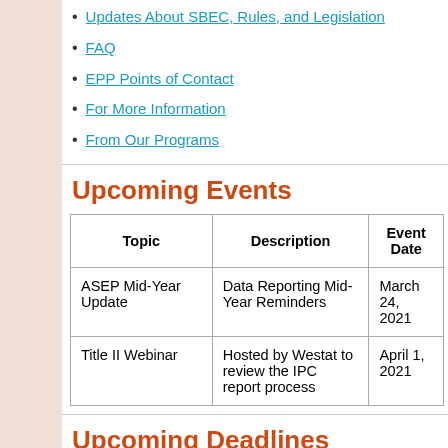Updates About SBEC, Rules, and Legislation
FAQ
EPP Points of Contact
For More Information
From Our Programs
Upcoming Events
| Topic | Description | Event Date |
| --- | --- | --- |
| ASEP Mid-Year Update | Data Reporting Mid-Year Reminders | March 24, 2021 |
| Title II Webinar | Hosted by Westat to review the IPC report process | April 1, 2021 |
Upcoming Deadlines